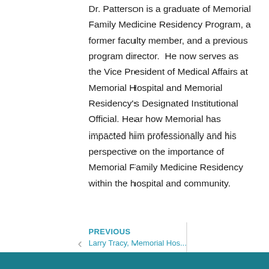Dr. Patterson is a graduate of Memorial Family Medicine Residency Program, a former faculty member, and a previous program director.  He now serves as the Vice President of Medical Affairs at Memorial Hospital and Memorial Residency's Designated Institutional Official. Hear how Memorial has impacted him professionally and his perspective on the importance of Memorial Family Medicine Residency within the hospital and community.
PREVIOUS
Larry Tracy, Memorial Hos...